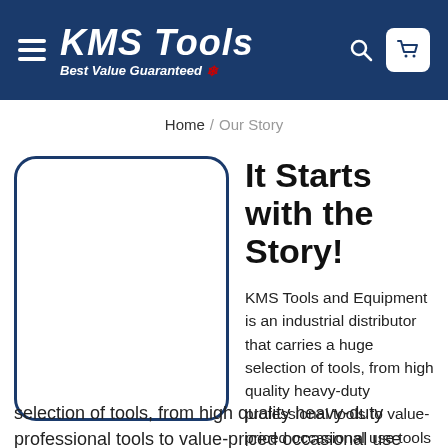KMS Tools — Best Value Guaranteed
Home / Our Story
[Figure (illustration): Placeholder image box with dark blue rounded border, white interior]
It Starts with the Story!
KMS Tools and Equipment is an industrial distributor that carries a huge selection of tools, from high quality heavy-duty professional tools to value-priced occasional use tools